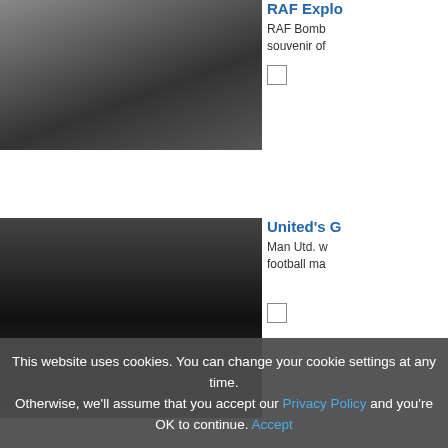[Figure (photo): Black and white photo of sky/explosion scene]
RAF Explo
RAF Bomb souvenir of
[Figure (photo): Black and white photo of football crowd/stadium]
United's G
Man Utd. w football ma
[Figure (photo): Black and white portrait photo of man looking down]
Sound Te:
Departmen Research t
[Figure (photo): Black and white photo partially visible at bottom]
Ticket Cli
This website uses cookies. You can change your cookie settings at any time. Otherwise, we'll assume that you accept our Privacy Policy and you're OK to continue. Accept